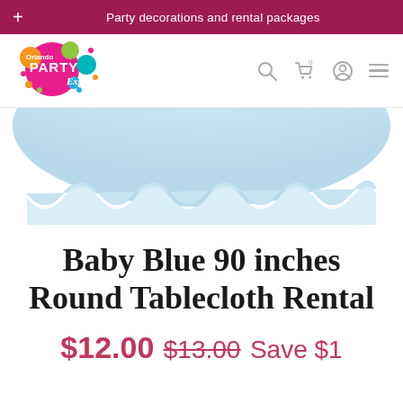Party decorations and rental packages
[Figure (logo): Orlando Party Express colorful logo with circular splashes in pink, orange, green, teal]
[Figure (photo): Baby blue round tablecloth draped, showing the bottom ruffled edge against white background]
Baby Blue 90 inches Round Tablecloth Rental
$12.00 $13.00 Save $1